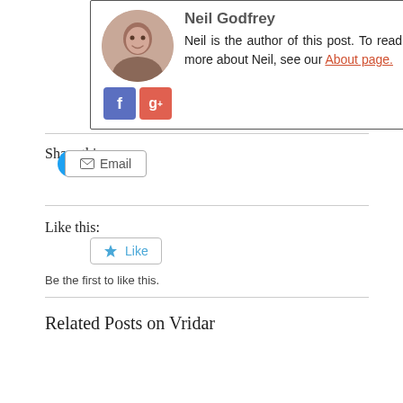[Figure (photo): Author profile photo of Neil Godfrey, circular avatar showing a person smiling, with Facebook and Google+ social icons below]
Neil is the author of this post. To read more about Neil, see our About page.
Share this:
[Figure (screenshot): Tweet button (blue rounded) and Email button (outlined) for sharing]
Like this:
[Figure (screenshot): Like button with star icon]
Be the first to like this.
Related Posts on Vridar